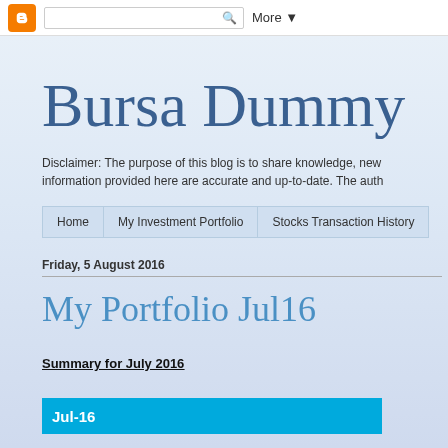Blogger navigation bar with search
Bursa Dummy
Disclaimer: The purpose of this blog is to share knowledge, new information provided here are accurate and up-to-date. The auth
Home | My Investment Portfolio | Stocks Transaction History
Friday, 5 August 2016
My Portfolio Jul16
Summary for July 2016
| Jul-16 |
| --- |